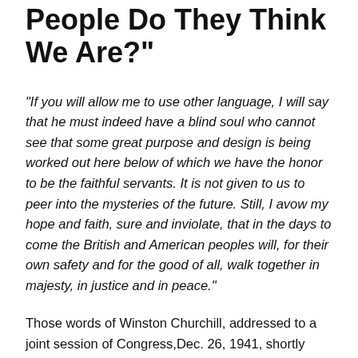People Do They Think We Are?"
"If you will allow me to use other language, I will say that he must indeed have a blind soul who cannot see that some great purpose and design is being worked out here below of which we have the honor to be the faithful servants. It is not given to us to peer into the mysteries of the future. Still, I avow my hope and faith, sure and inviolate, that in the days to come the British and American peoples will, for their own safety and for the good of all, walk together in majesty, in justice and in peace."
Those words of Winston Churchill, addressed to a joint session of Congress, Dec. 26, 1941, shortly after The